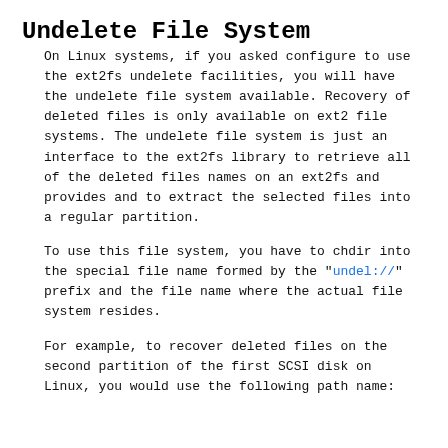Undelete File System
On Linux systems, if you asked configure to use the ext2fs undelete facilities, you will have the undelete file system available. Recovery of deleted files is only available on ext2 file systems. The undelete file system is just an interface to the ext2fs library to retrieve all of the deleted files names on an ext2fs and provides and to extract the selected files into a regular partition.
To use this file system, you have to chdir into the special file name formed by the "undel://" prefix and the file name where the actual file system resides.
For example, to recover deleted files on the second partition of the first SCSI disk on Linux, you would use the following path name: